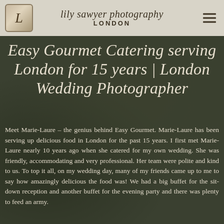lily sawyer photography LONDON
Easy Gourmet Catering serving London for 15 years | London Wedding Photographer
Meet Marie-Laure – the genius behind Easy Gourmet. Marie-Laure has been serving up delicious food in London for the past 15 years. I first met Marie-Laure nearly 10 years ago when she catered for my own wedding. She was friendly, accommodating and very professional. Her team were polite and kind to us. To top it all, on my wedding day, many of my friends came up to me to say how amazingly delicious the food was! We had a big buffet for the sit-down reception and another buffet for the evening party and there was plenty to feed an army.